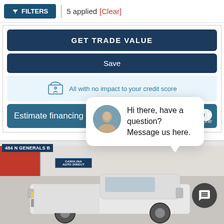FILTERS | 5 applied [Clear]
GET TRADE VALUE
Save
All with no impact to your credit score
Estimate financing
close
Hi there, have a question? Message us here.
[Figure (photo): Dealership exterior with white Chevrolet Silverado pickup truck in foreground. Sign reads '484 N GENERALS B...' and Carolina Auto Direct logo visible.]
484 N GENERALS B